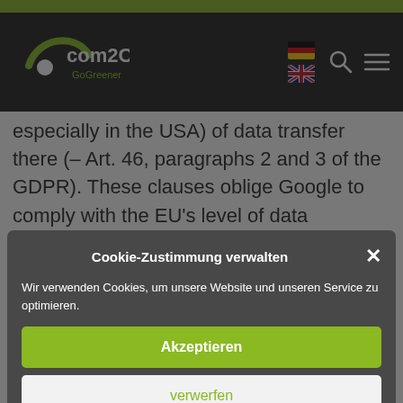[Figure (logo): com2C GoGreener logo with stylized swoosh and dot on dark background]
especially in the USA) of data transfer there (– Art. 46, paragraphs 2 and 3 of the GDPR). These clauses oblige Google to comply with the EU's level of data
Cookie-Zustimmung verwalten
Wir verwenden Cookies, um unsere Website und unseren Service zu optimieren.
Akzeptieren
verwerfen
Einstellungen
Cookie-Richtlinien   Privacy Policy   Legal